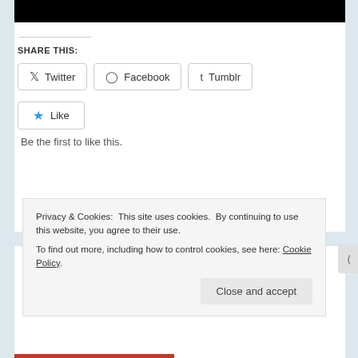[Figure (screenshot): Black bar at top of white card]
SHARE THIS:
Twitter  Facebook  Tumblr  (share buttons)
Like  Be the first to like this.
THE SONS OF THESTIAN TRAILER
Privacy & Cookies: This site uses cookies. By continuing to use this website, you agree to their use. To find out more, including how to control cookies, see here: Cookie Policy
Close and accept